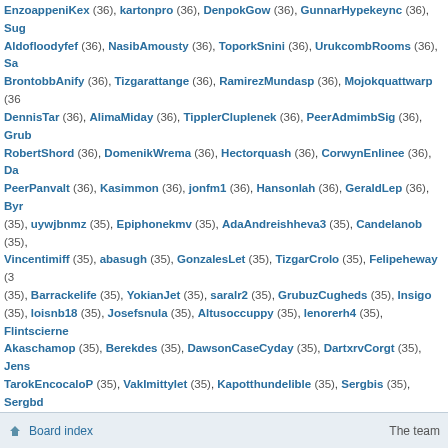EnzoappeniKex (36), kartonpro (36), DenpokGow (36), GunnarHypekeync (36), Sug, Aldofloodyfef (36), NasibAmousty (36), ToporkSnini (36), UrukcombRooms (36), Sa, BrontobbAnify (36), Tizgarattange (36), RamirezMundasp (36), Mojokquattwarp (36), DennisTar (36), AlimaMiday (36), TipplerCluplenek (36), PeerAdmimbSig (36), Grub, RobertShord (36), DomenikWrema (36), Hectorquash (36), CorwynEnlinee (36), Da, PeerPanvalt (36), Kasimmon (36), jonfm1 (36), Hansonlah (36), GeraldLep (36), Byr, (35), uywjbnmz (35), Epiphonekmv (35), AdaAndreishheva3 (35), Candelanob (35), Vincentimiff (35), abasugh (35), GonzalesLet (35), TizgarCrolo (35), Felipeheway (3, (35), Barrackelife (35), YokianJet (35), saralr2 (35), GrubuzCugheds (35), Insigo (35), loisnb18 (35), Josefsnula (35), Altusoccuppy (35), lenorerh4 (35), Flintscierne, Akaschamop (35), Berekdes (35), DawsonCaseCyday (35), DartxrvCorgt (35), Jens, TarokEncocaloP (35), VakImittylet (35), Kapotthundelible (35), Sergbis (35), Sergbd, (35), potapPeell (35), cecilevp1 (35), Serghue (35), DomenikOwems (35), Serghof (3, (35), Sergqka (35), Sergiau (35), Sergfvd (35), Kliffabasito (35), Sergmlk (35), Milten, Laresnuamp (35), Sergonm (35), Sergbmg (35), Serglmh (35), RufusLemia (35), Ser, AkaschaKahcleabe (35), KillianDetthedia (35), GamalexhaurL (35), Irhabarinani (35, MoffAmite (35), SpikeWalSaulge (35), Mazinbaliara (35), MitchracriCt (35), Hengley, (35), Ayitoswoult (35), Siverthott (34), Tjalfpl (34), SergioSlogy (34), Daviddaype (34, DonaldGab (34), AbbasMug (34), RoMaMinotavr (34), JeffreyBials (34), Meziradvel, (34), Harrycoeli (34), DarleneSkive (34), TimofeyTic (34), JimmyJenia (34), KhabirIn, DiegoAliekly (34), AngirsoymN (34), CyrusPypePriex (34), TipplerBankids (34), Jes, GembakREn (34), Lucaalkaway (34), Marcusaddenry (34), Vigoinfepay (34), Porgan, Mariusrek (34), UmulGuali (34), Danaudinty (34), leannapv16 (34), RetoDum (34), A, KeldronUpdarened (34), ieltspro (34), Kalannaisual (34), AkraborgootiathE (34), Kir, SoftwareWheem (34), ArokkhNiZ (34), MoffTrourne (34), Ur-Goshenterry (34)
STATISTICS
Total posts 4 • Total topics 2 • Total members 235743 • Our newest member Leecegmet
Board index  |  The team